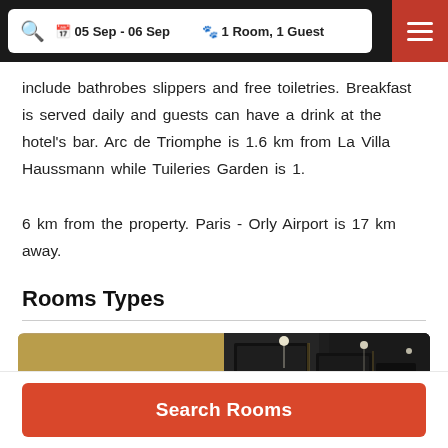05 Sep - 06 Sep   1 Room, 1 Guest
include bathrobes slippers and free toiletries. Breakfast is served daily and guests can have a drink at the hotel's bar. Arc de Triomphe is 1.6 km from La Villa Haussmann while Tuileries Garden is 1.

6 km from the property. Paris - Orly Airport is 17 km away.
Rooms Types
[Figure (photo): Two hotel room photos side by side: left shows a painted artwork of a woman with red hair on a golden wall; right shows a dark modern hotel corridor with framed mirrors and accent lighting.]
Search Rooms